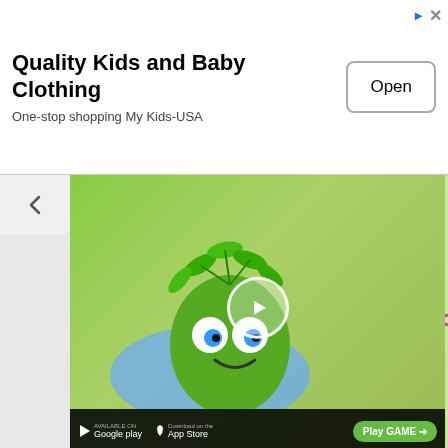[Figure (screenshot): Advertisement banner for Quality Kids and Baby Clothing - My Kids-USA with an Open button]
[Figure (screenshot): Mobile game advertisement showing a cartoon green plant character, Google Play and App Store badges, and a 'HELP US!' promotion image]
Hyundai had issued a clarification after it faced calls for a boycott of its cars, but there have been demands for the company to apologise unequivocally over its Pakistan partner expressing solidarity with the cause of separate Kashmir.